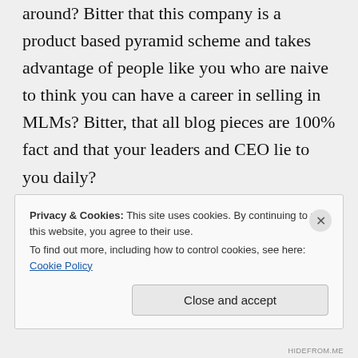around? Bitter that this company is a product based pyramid scheme and takes advantage of people like you who are naive to think you can have a career in selling in MLMs? Bitter, that all blog pieces are 100% fact and that your leaders and CEO lie to you daily?
You are repeating the script fed to you regarding Scholastic Books. I
Privacy & Cookies: This site uses cookies. By continuing to use this website, you agree to their use.
To find out more, including how to control cookies, see here: Cookie Policy
Close and accept
HIDEFROM.ME